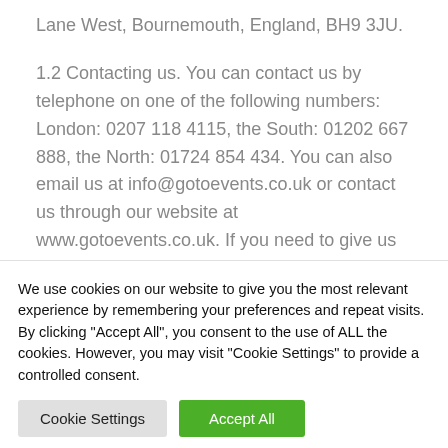Lane West, Bournemouth, England, BH9 3JU.
1.2 Contacting us. You can contact us by telephone on one of the following numbers: London: 0207 118 4115, the South: 01202 667 888, the North: 01724 854 434. You can also email us at info@gotoevents.co.uk or contact us through our website at www.gotoevents.co.uk. If you need to give us formal notice under the Contract then please refer to clause 17.2 below.
2 OUR CONTRACT WITH YOU
We use cookies on our website to give you the most relevant experience by remembering your preferences and repeat visits. By clicking "Accept All", you consent to the use of ALL the cookies. However, you may visit "Cookie Settings" to provide a controlled consent.